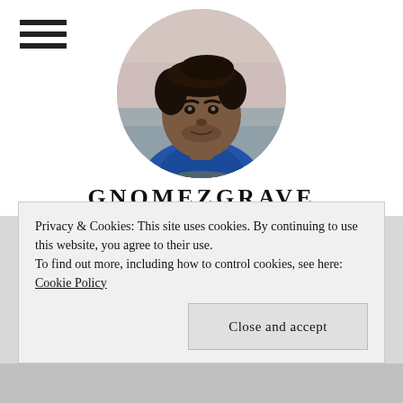[Figure (other): Hamburger menu icon (three horizontal lines) in top-left corner]
[Figure (photo): Circular profile photo of a young man with short dark hair wearing a blue and yellow shirt, photographed outdoors near water at dusk]
GNOMEZGRAVE
as Google's, but it worked.
So, this was NOT a reason for me to return to Android.
Stability
Privacy & Cookies: This site uses cookies. By continuing to use this website, you agree to their use.
To find out more, including how to control cookies, see here: Cookie Policy
Close and accept